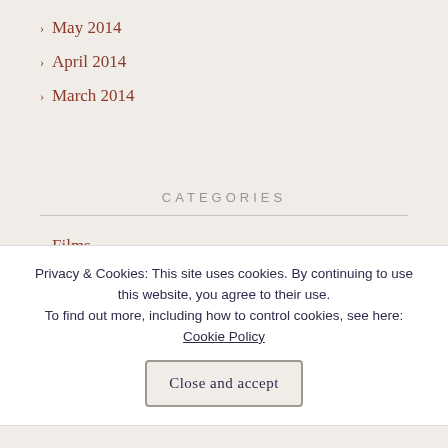May 2014
April 2014
March 2014
CATEGORIES
Films
Television
Telltale's Game of Thrones
Privacy & Cookies: This site uses cookies. By continuing to use this website, you agree to their use. To find out more, including how to control cookies, see here: Cookie Policy